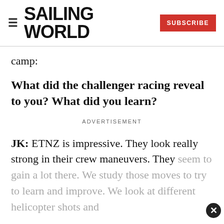SAILING WORLD | SUBSCRIBE
camp:
What did the challenger racing reveal to you? What did you learn?
ADVERTISEMENT
JK: ETNZ is impressive. They look really strong in their crew maneuvers. They seem to gain a lot there. We study those moves to try to learn and improve. We look at different helicopter shots and